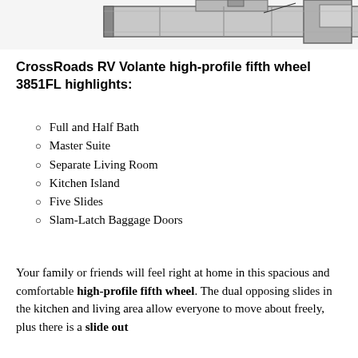[Figure (illustration): Partial floor plan diagram of a CrossRoads RV Volante 3851FL fifth wheel, showing the top portion of the layout in grayscale.]
CrossRoads RV Volante high-profile fifth wheel 3851FL highlights:
Full and Half Bath
Master Suite
Separate Living Room
Kitchen Island
Five Slides
Slam-Latch Baggage Doors
Your family or friends will feel right at home in this spacious and comfortable high-profile fifth wheel. The dual opposing slides in the kitchen and living area allow everyone to move about freely, plus there is a slide out